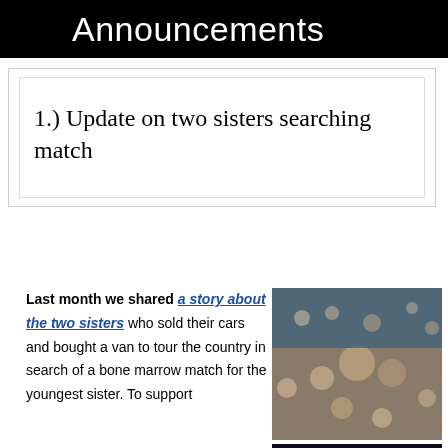Announcements
1.) Update on two sisters searching match
Last month we shared a story about the two sisters who sold their cars and bought a van to tour the country in search of a bone marrow match for the youngest sister. To support
[Figure (photo): Crowd of people in an auditorium or large venue]
[Figure (photo): Group of women posing for a photo against a dark background]